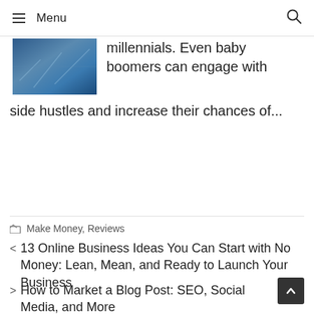Menu
millennials. Even baby boomers can engage with side hustles and increase their chances of...
Make Money, Reviews
< 13 Online Business Ideas You Can Start with No Money: Lean, Mean, and Ready to Launch Your Business
> How to Market a Blog Post: SEO, Social Media, and More